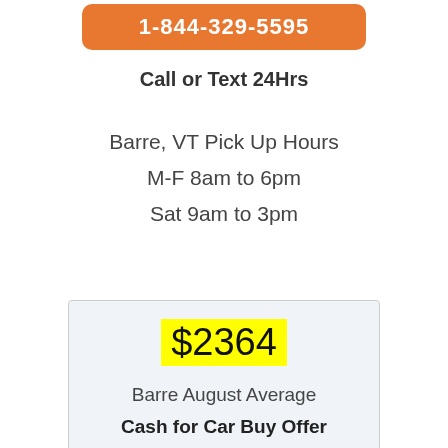1-844-329-5595
Call or Text 24Hrs
Barre, VT Pick Up Hours
M-F 8am to 6pm
Sat 9am to 3pm
$2364
Barre August Average
Cash for Car Buy Offer